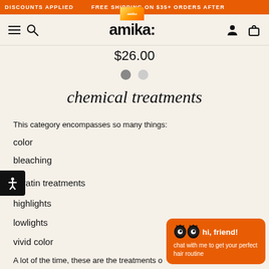DISCOUNTS APPLIED   FREE SHIPPING ON $35+ ORDERS AFTER
[Figure (screenshot): amika: website navigation bar with hamburger menu, search icon, amika: logo, user and cart icons]
$26.00
chemical treatments
This category encompasses so many things:
color
bleaching
keratin treatments
highlights
lowlights
vivid color
A lot of the time, these are the treatments o